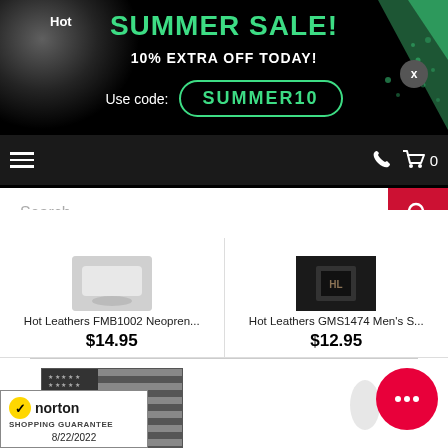[Figure (screenshot): E-commerce website banner with summer sale promotion. Black background with green text 'SUMMER SALE!' and '10% EXTRA OFF TODAY!'. Promo code 'SUMMER10' in a green-bordered pill. Navigation bar with hamburger menu and cart. Search bar below.]
Hot Leathers FMB1002 Neopren...
$14.95
Hot Leathers GMS1474 Men's S...
$12.95
[Figure (photo): American flag with skull and crossbones overlay in black and white]
Hot Leathers FGA1073 Gray Skul...
$14.95
[Figure (logo): Norton Shopping Guarantee badge with checkmark, dated 8/22/2022]